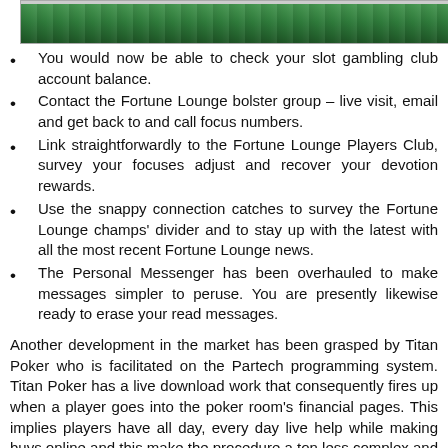[Figure (photo): Top strip showing a green casino/gambling table background image]
You would now be able to check your slot gambling club account balance.
Contact the Fortune Lounge bolster group – live visit, email and get back to and call focus numbers.
Link straightforwardly to the Fortune Lounge Players Club, survey your focuses adjust and recover your devotion rewards.
Use the snappy connection catches to survey the Fortune Lounge champs' divider and to stay up with the latest with all the most recent Fortune Lounge news.
The Personal Messenger has been overhauled to make messages simpler to peruse. You are presently likewise ready to erase your read messages.
Another development in the market has been grasped by Titan Poker who is facilitated on the Partech programming system. Titan Poker has a live download work that consequently fires up when a player goes into the poker room's financial pages. This implies players have all day, every day live help while making buys online and this make the procedure a ton less complex and more secure